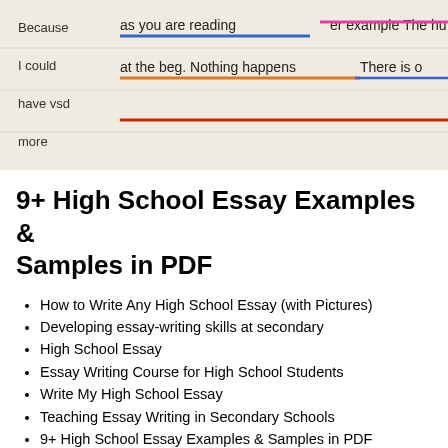[Figure (photo): Handwritten text on paper with colorful underlines (blue, pink, orange) showing phrases like 'because I could have used more', 'as you are reading for example The hu...', 'at the beg. Nothing happens', 'There is o...']
9+ High School Essay Examples & Samples in PDF
How to Write Any High School Essay (with Pictures)
Developing essay-writing skills at secondary
High School Essay
Essay Writing Course for High School Students
Write My High School Essay
Teaching Essay Writing in Secondary Schools
9+ High School Essay Examples & Samples in PDF
14 Ways to Write Better in High School
We can no great mischief essay help name dozens of reasons why getting assistance in writing an essay for college admission is better than essay writing help for high school spending countless hours in front of your PC doing research and reading different tips